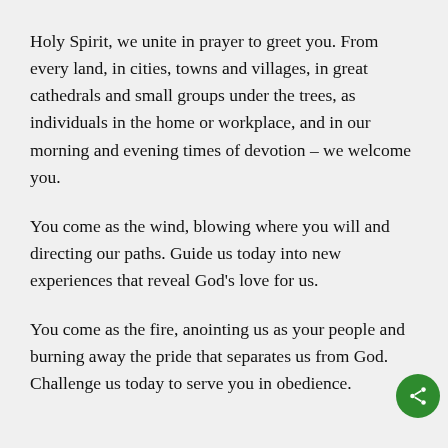Holy Spirit, we unite in prayer to greet you. From every land, in cities, towns and villages, in great cathedrals and small groups under the trees, as individuals in the home or workplace, and in our morning and evening times of devotion – we welcome you.
You come as the wind, blowing where you will and directing our paths. Guide us today into new experiences that reveal God's love for us.
You come as the fire, anointing us as your people and burning away the pride that separates us from God. Challenge us today to serve you in obedience.